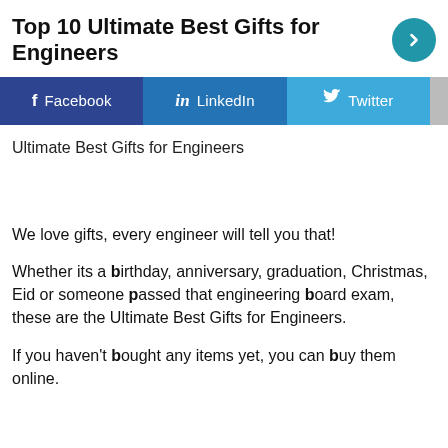Top 10 Ultimate Best Gifts for Engineers
[Figure (screenshot): Social share buttons row: Facebook, LinkedIn, Twitter, and a partially visible fourth button]
Ultimate Best Gifts for Engineers
We love gifts, every engineer will tell you that!
Whether its a birthday, anniversary, graduation, Christmas, Eid or someone passed that engineering board exam, these are the Ultimate Best Gifts for Engineers.
If you haven't bought any items yet, you can buy them online.